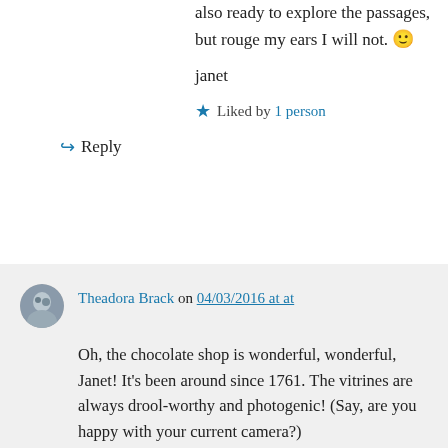also ready to explore the passages, but rouge my ears I will not. 🙂
janet
★ Liked by 1 person
↪ Reply
Theadora Brack on 04/03/2016 at at
Oh, the chocolate shop is wonderful, wonderful, Janet! It's been around since 1761. The vitrines are always drool-worthy and photogenic! (Say, are you happy with your current camera?)
Enjoy the weekend!